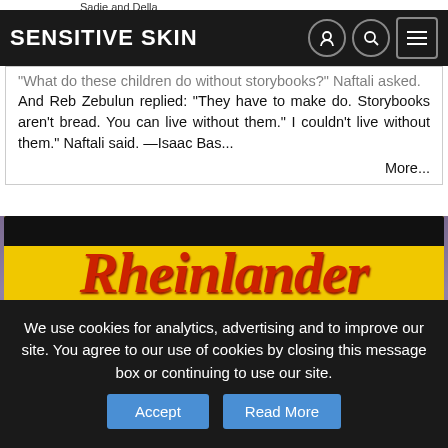Sadie and Della
Sensitive Skin
"What do these children do without storybooks?" Naftali asked. And Reb Zebulun replied: "They have to make do. Storybooks aren't bread. You can live without them." I couldn't live without them." Naftali said. —Isaac Bas... More...
[Figure (photo): Close-up photo of a Rheinlander beer can/label showing 'Rheinlander' in large gothic lettering on a yellow background, with 'THE BEER OF THE CENTUR' (Century, partially cropped) text below on a yellow band.]
We use cookies for analytics, advertising and to improve our site. You agree to our use of cookies by closing this message box or continuing to use our site.  Accept  Read More